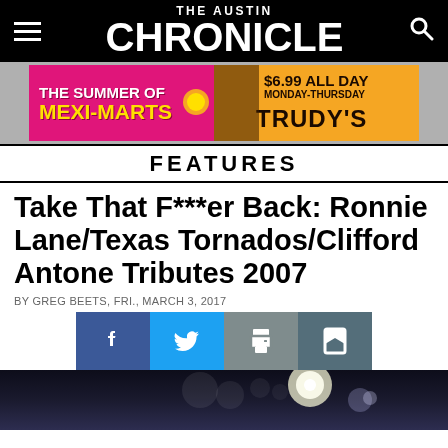THE AUSTIN CHRONICLE
[Figure (photo): Advertisement banner for Trudy's restaurant: 'The Summer of Mexi-Marts' with pink/orange background and price '$6.99 All Day Monday-Thursday']
FEATURES
Take That F***er Back: Ronnie Lane/Texas Tornados/Clifford Antone Tributes 2007
BY GREG BEETS, FRI., MARCH 3, 2017
[Figure (infographic): Social sharing buttons: Facebook, Twitter, Print, Save]
[Figure (photo): Dark concert/stage photography with lights visible]